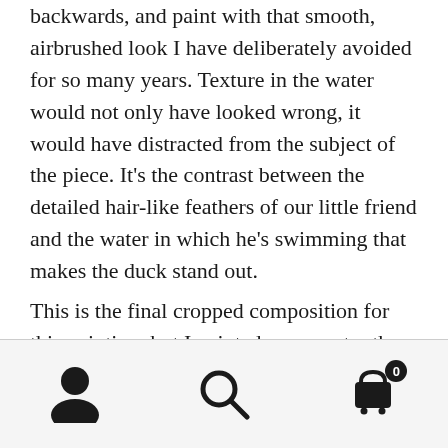backwards, and paint with that smooth, airbrushed look I have deliberately avoided for so many years. Texture in the water would not only have looked wrong, it would have distracted from the subject of the piece. It's the contrast between the detailed hair-like feathers of our little friend and the water in which he's swimming that makes the duck stand out.
This is the final cropped composition for this painting, but I painted more water than you see here. As most of my paintings end up on licensed products, I painted more of the background to
[Figure (other): Mobile app bottom navigation bar with three icons: person/profile icon on left, search magnifying glass in center, shopping cart with badge showing '0' on right]